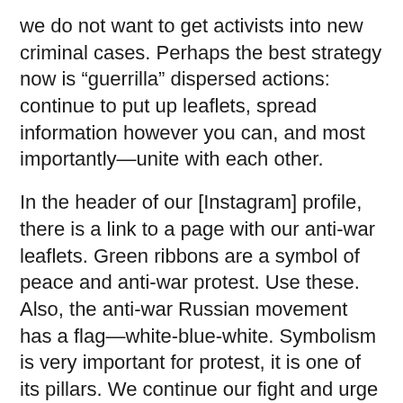we do not want to get activists into new criminal cases. Perhaps the best strategy now is “guerrilla” dispersed actions: continue to put up leaflets, spread information however you can, and most importantly—unite with each other.
In the header of our [Instagram] profile, there is a link to a page with our anti-war leaflets. Green ribbons are a symbol of peace and anti-war protest. Use these. Also, the anti-war Russian movement has a flag—white-blue-white. Symbolism is very important for protest, it is one of its pillars. We continue our fight and urge you not to despair and not give up—but at the same time, be extremely careful. The main thing is that there are millions of us, and common sense, conscience, and truth are on our side. Thank you for everything you do, and for